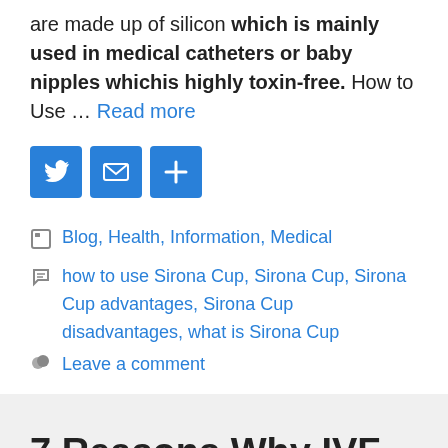are made up of silicon which is mainly used in medical catheters or baby nipples whichis highly toxin-free. How to Use … Read more
[Figure (infographic): Three blue social sharing buttons: Twitter bird icon, email/envelope icon, and a plus/share icon]
Blog, Health, Information, Medical
how to use Sirona Cup, Sirona Cup, Sirona Cup advantages, Sirona Cup disadvantages, what is Sirona Cup
Leave a comment
7 Reasons Why IVF Treatment is the Best Option